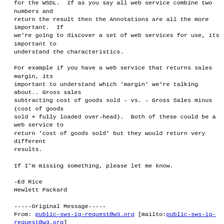Semantic Annotations
for the WSDL.  If as you say all web service combine two numbers and
return the result then the Annotations are all the more important.  If
we're going to discover a set of web services for use, its important to
understand the characteristics.

For example if you have a web service that returns sales margin, its
important to understand which 'margin' we're talking about.. Gross sales
subtracting cost of goods sold - vs. - Gross Sales minus (cost of goods
sold + fully loaded over-head).  Both of these could be a web service to
return 'cost of goods sold' but they would return very different
results.

If I'm missing something, please let me know.

-Ed Rice
Hewlett Packard

-----Original Message-----
From: public-sws-ig-request@w3.org [mailto:public-sws-ig-request@w3.org]
On Behalf Of Shi, Yuez